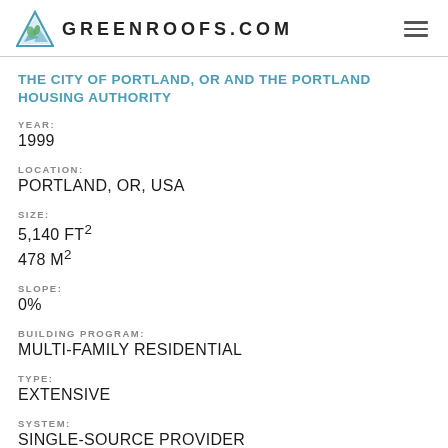GREENROOFS.COM
THE CITY OF PORTLAND, OR AND THE PORTLAND HOUSING AUTHORITY
YEAR:
1999
LOCATION:
PORTLAND, OR, USA
SIZE:
5,140 FT²
478 M²
SLOPE:
0%
BUILDING PROGRAM:
MULTI-FAMILY RESIDENTIAL
TYPE:
EXTENSIVE
SYSTEM:
SINGLE-SOURCE PROVIDER
TEST/RESEARCH: